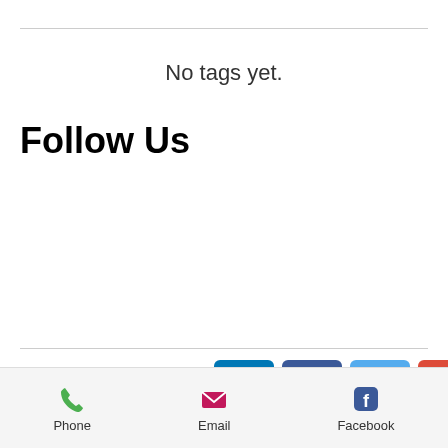No tags yet.
Follow Us
[Figure (infographic): Social media follow icons: LinkedIn, Facebook, Twitter, Google+]
Phone  Email  Facebook